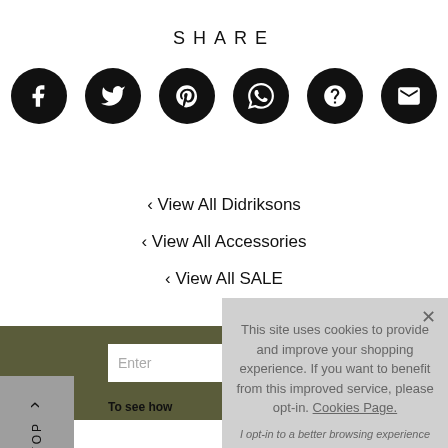SHARE
[Figure (infographic): Six black circular social share icons: Facebook, Twitter, Pinterest, WhatsApp, unknown/question, Email]
‹ View All Didriksons
‹ View All Accessories
‹ View All SALE
This site uses cookies to provide and improve your shopping experience. If you want to benefit from this improved service, please opt-in. Cookies Page.
I opt-in to a better browsing experience
ACCEPT COOKIES